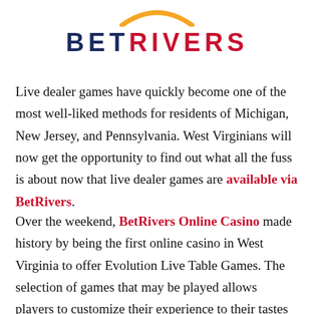[Figure (logo): BetRivers logo with yellow/gold arc above the text BETRIVERS in dark navy, with RIVERS in bold]
Live dealer games have quickly become one of the most well-liked methods for residents of Michigan, New Jersey, and Pennsylvania. West Virginians will now get the opportunity to find out what all the fuss is about now that live dealer games are available via BetRivers.
Over the weekend, BetRivers Online Casino made history by being the first online casino in West Virginia to offer Evolution Live Table Games. The selection of games that may be played allows players to customize their experience to their tastes